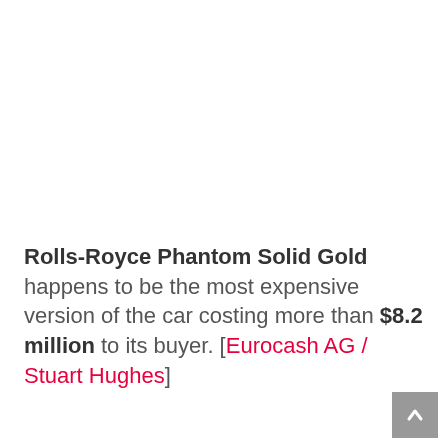Rolls-Royce Phantom Solid Gold happens to be the most expensive version of the car costing more than $8.2 million to its buyer. [Eurocash AG / Stuart Hughes]